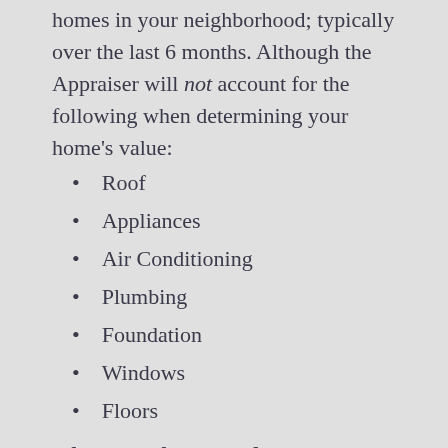homes in your neighborhood; typically over the last 6 months. Although the Appraiser will not account for the following when determining your home's value:
Roof
Appliances
Air Conditioning
Plumbing
Foundation
Windows
Floors
This is why we always